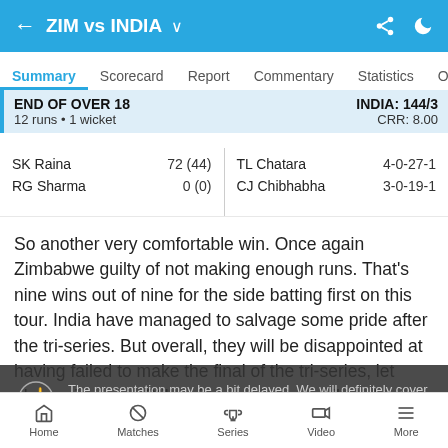ZIM vs INDIA
Summary | Scorecard | Report | Commentary | Statistics | Over
END OF OVER 18 — INDIA: 144/3 — 12 runs • 1 wicket — CRR: 8.00
| Batsman | Score | Bowler | Figures |
| --- | --- | --- | --- |
| SK Raina | 72 (44) | TL Chatara | 4-0-27-1 |
| RG Sharma | 0 (0) | CJ Chibhabha | 3-0-19-1 |
So another very comfortable win. Once again Zimbabwe guilty of not making enough runs. That's nine wins out of nine for the side batting first on this tour. India have managed to salvage some pride after the tri-series. But overall, they will be disappointed at having failed to make the final of the tri-series, let alone winning it. Still, a few youngsters will go home richer with the experience.
The presentation may be a bit delayed. We will definitely cover it for you. Stay with us.
Long press to share commentary.
Home | Matches | Series | Video | More